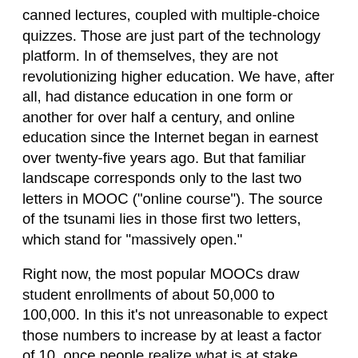canned lectures, coupled with multiple-choice quizzes. Those are just part of the technology platform. In of themselves, they are not revolutionizing higher education. We have, after all, had distance education in one form or another for over half a century, and online education since the Internet began in earnest over twenty-five years ago. But that familiar landscape corresponds only to the last two letters in MOOC ("online course"). The source of the tsunami lies in those first two letters, which stand for "massively open."
Right now, the most popular MOOCs draw student enrollments of about 50,000 to 100,000. In this it's not unreasonable to expect those numbers to increase by at least a factor of 10, once people realize what is at stake.
True, those numbers don't tell the whole story. In particular, roughly 90% of the students who sign up do not complete the course. But that leaves many thousands who do finish, many of them with near perfect scores. And when that tenfold increase kicks in, it will be tens of thousands that complete. Paradoxically, it's the high rate of dropouts that will